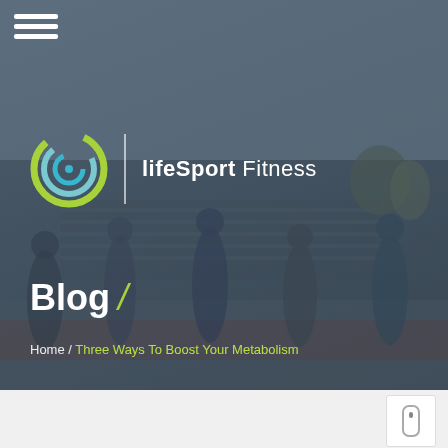[Figure (photo): Hero banner image showing a group of people exercising outdoors on a track, raising their arms, with stadium bleachers in the background. Dark semi-transparent overlay applied.]
☰ (hamburger menu icon)
[Figure (logo): lifeSport Fitness logo: circular swirl graphic in lime green and teal/blue, followed by a vertical white divider line, then the text 'lifeSport Fitness' in white]
Blog /
Home / Three Ways To Boost Your Metabolism